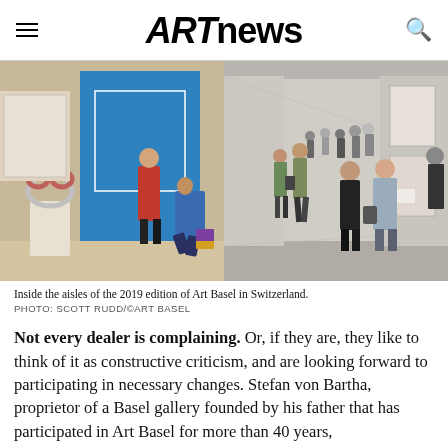ARTnews
[Figure (photo): Inside the aisles of the 2019 edition of Art Basel in Switzerland. People browsing artwork in a gallery hall with blue artwork visible on the left and a long corridor of visitors on the right.]
Inside the aisles of the 2019 edition of Art Basel in Switzerland.
PHOTO: SCOTT RUDD/©ART BASEL
Not every dealer is complaining. Or, if they are, they like to think of it as constructive criticism, and are looking forward to participating in necessary changes. Stefan von Bartha, proprietor of a Basel gallery founded by his father that has participated in Art Basel for more than 40 years,